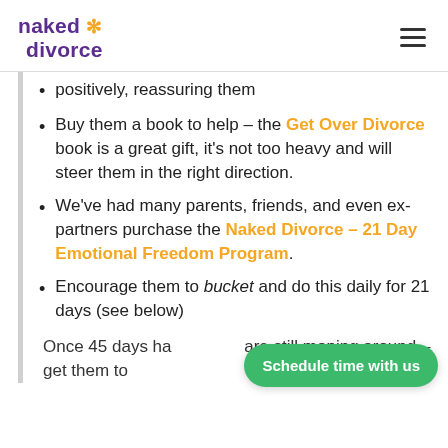naked divorce
positively, reassuring them
Buy them a book to help – the Get Over Divorce book is a great gift, it's not too heavy and will steer them in the right direction.
We've had many parents, friends, and even ex-partners purchase the Naked Divorce – 21 Day Emotional Freedom Program.
Encourage them to bucket and do this daily for 21 days (see below)
Once 45 days ha… are still moping around – get them to
Schedule time with us